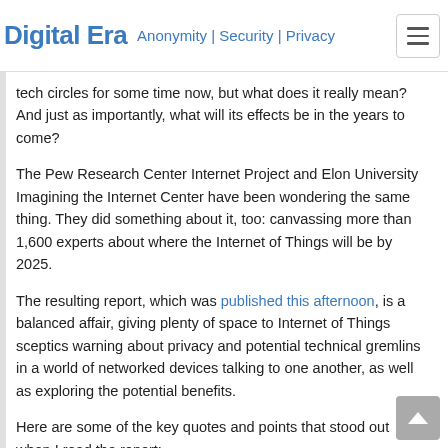Digital Era  Anonymity | Security | Privacy
tech circles for some time now, but what does it really mean? And just as importantly, what will its effects be in the years to come?
The Pew Research Center Internet Project and Elon University Imagining the Internet Center have been wondering the same thing. They did something about it, too: canvassing more than 1,600 experts about where the Internet of Things will be by 2025.
The resulting report, which was published this afternoon, is a balanced affair, giving plenty of space to Internet of Things sceptics warning about privacy and potential technical gremlins in a world of networked devices talking to one another, as well as exploring the potential benefits.
Here are some of the key quotes and points that stood out when I read the report: